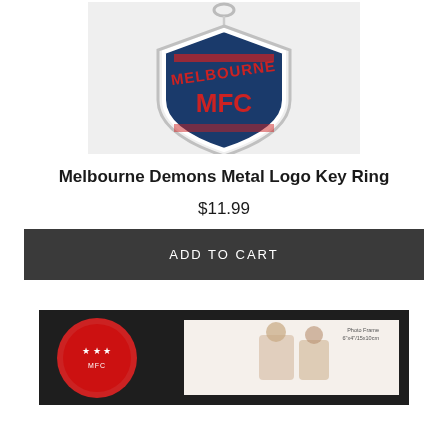[Figure (photo): Melbourne Demons Metal Logo Key Ring product photo showing a navy blue and red shield-shaped metal keyring with MELBOURNE and MFC logo on a light grey background]
Melbourne Demons Metal Logo Key Ring
$11.99
ADD TO CART
[Figure (photo): Second product preview showing a black framed photo display with Melbourne Demons medallion/coin on the left and a family photo on the right with text 'Photo Frame 6"x4"/15x10cm']